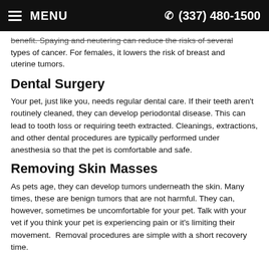MENU  (337) 480-1500
benefit. Spaying and neutering can reduce the risks of several types of cancer. For females, it lowers the risk of breast and uterine tumors.
Dental Surgery
Your pet, just like you, needs regular dental care. If their teeth aren't routinely cleaned, they can develop periodontal disease. This can lead to tooth loss or requiring teeth extracted. Cleanings, extractions, and other dental procedures are typically performed under anesthesia so that the pet is comfortable and safe.
Removing Skin Masses
As pets age, they can develop tumors underneath the skin. Many times, these are benign tumors that are not harmful. They can, however, sometimes be uncomfortable for your pet. Talk with your vet if you think your pet is experiencing pain or it's limiting their movement.  Removal procedures are simple with a short recovery time.